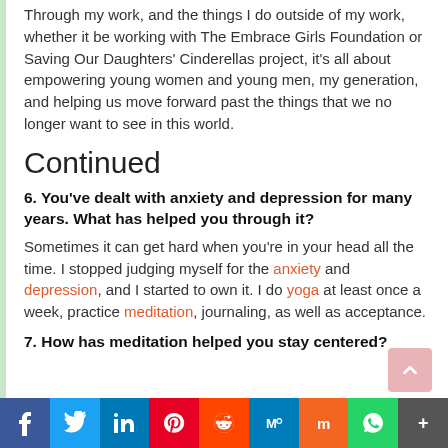Through my work, and the things I do outside of my work, whether it be working with The Embrace Girls Foundation or Saving Our Daughters' Cinderellas project, it's all about empowering young women and young men, my generation, and helping us move forward past the things that we no longer want to see in this world.
Continued
6. You've dealt with anxiety and depression for many years. What has helped you through it?
Sometimes it can get hard when you're in your head all the time. I stopped judging myself for the anxiety and depression, and I started to own it. I do yoga at least once a week, practice meditation, journaling, as well as acceptance.
7. How has meditation helped you stay centered?